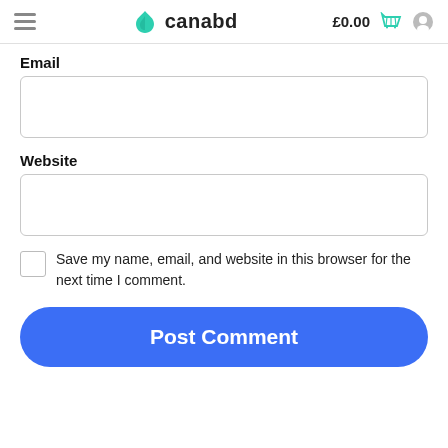canabd £0.00
Email
Website
Save my name, email, and website in this browser for the next time I comment.
Post Comment